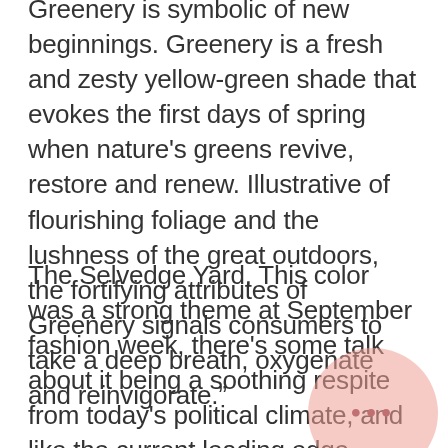Greenery is symbolic of new beginnings. Greenery is a fresh and zesty yellow-green shade that evokes the first days of spring when nature's greens revive, restore and renew. Illustrative of flourishing foliage and the lushness of the great outdoors, the fortifying attributes of Greenery signals consumers to take a deep breath, oxygenate and reinvigorate."
The Selvedge Yard, This color was a strong theme at September fashion week, there's some talk about it being a soothing respite from today's political climate, and like the current leading edge design eras being revisited right now in interior design,